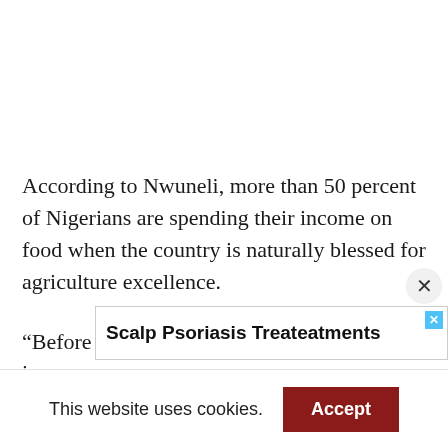According to Nwuneli, more than 50 percent of Nigerians are spending their income on food when the country is naturally blessed for agriculture excellence.
“Before covid, 57 percent of household income
[Figure (screenshot): Advertisement banner for Scalp Psoriasis Treateatments with a close icon]
This website uses cookies.
Accept